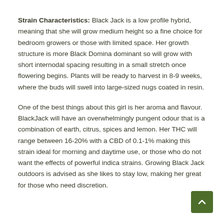Strain Characteristics: Black Jack is a low profile hybrid, meaning that she will grow medium height so a fine choice for bedroom growers or those with limited space. Her growth structure is more Black Domina dominant so will grow with short internodal spacing resulting in a small stretch once flowering begins. Plants will be ready to harvest in 8-9 weeks, where the buds will swell into large-sized nugs coated in resin.
One of the best things about this girl is her aroma and flavour. BlackJack will have an overwhelmingly pungent odour that is a combination of earth, citrus, spices and lemon. Her THC will range between 16-20% with a CBD of 0.1-1% making this strain ideal for morning and daytime use, or those who do not want the effects of powerful indica strains. Growing Black Jack outdoors is advised as she likes to stay low, making her great for those who need discretion.